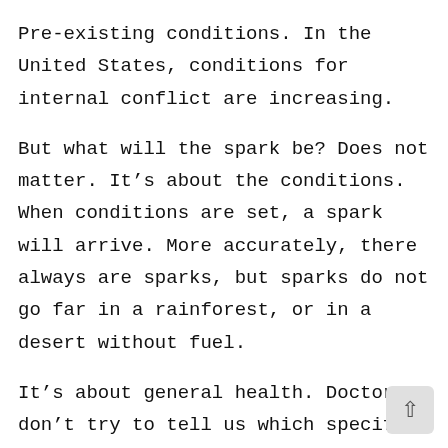Pre-existing conditions. In the United States, conditions for internal conflict are increasing.
But what will the spark be? Does not matter. It's about the conditions. When conditions are set, a spark will arrive. More accurately, there always are sparks, but sparks do not go far in a rainforest, or in a desert without fuel.
It’s about general health. Doctors don’t try to tell us which specific germ will get us. They talk more about setting conditions for health. Such as keeping clean, eating well.
Likewise the forestry experts will talk about conditions for wildfires. Dry forest. Uncleare...